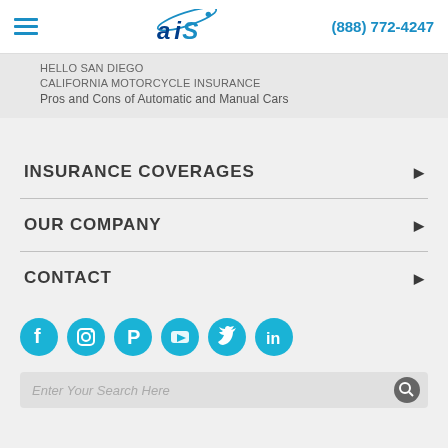AIS Insurance — (888) 772-4247
HELLO SAN DIEGO
CALIFORNIA MOTORCYCLE INSURANCE
Pros and Cons of Automatic and Manual Cars
INSURANCE COVERAGES
OUR COMPANY
CONTACT
[Figure (infographic): Social media icon buttons: Facebook, Instagram, Pinterest, YouTube, Twitter, LinkedIn — teal circular icons]
Enter Your Search Here